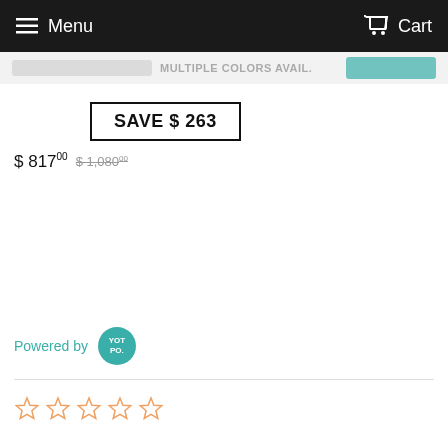Menu   Cart
MULTIPLE COLORS AVAIL.
SAVE $ 263
$ 817.00  $ 1,080.00
Powered by YOTPO
[Figure (other): Five empty star rating icons in orange/gold outline]